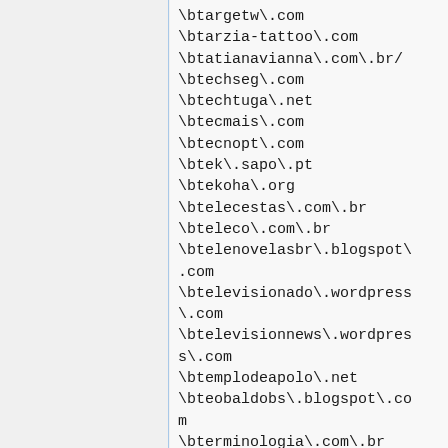\btargetw\.com
\btarzia-tattoo\.com
\btatianavianna\.com\.br/
\btechseg\.com
\btechtuga\.net
\btecmais\.com
\btecnopt\.com
\btek\.sapo\.pt
\btekoha\.org
\btelecestas\.com\.br
\bteleco\.com\.br
\btelenovelasbr\.blogspot\.com
\btelevisionado\.wordpress\.com
\btelevisionnews\.wordpress\.com
\btemplodeapolo\.net
\bteobaldobs\.blogspot\.com
\bterminologia\.com\.br
\bterraforum\.com\.br
\bTerrasdaMantiqueira\.com
\btertdow\.blogspot\.com
\btestdriveonline\.com\.br